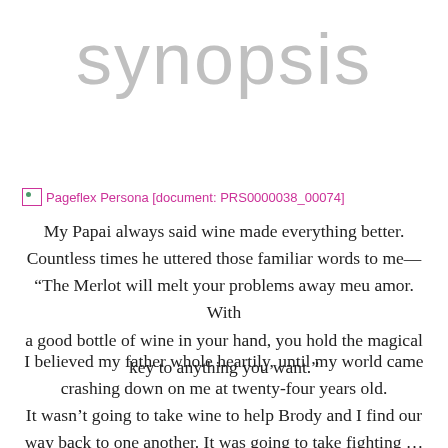synopsis
[Figure (other): Broken image placeholder for Pageflex Persona document: PRS0000038_00074]
My Papai always said wine made everything better. Countless times he uttered those familiar words to me—“The Merlot will melt your problems away meu amor. With a good bottle of wine in your hand, you hold the magical key to anything you want.”
I believed my father whole heartily, until my world came crashing down on me at twenty-four years old. It wasn’t going to take wine to help Brody and I find our way back to one another. It was going to take fighting … not only for our love—